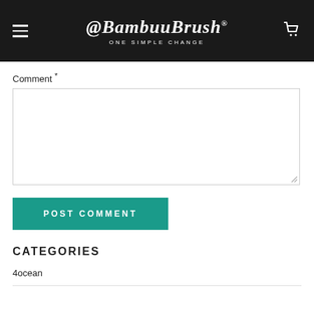@BambuuBrush ONE SIMPLE CHANGE
Comment *
POST COMMENT
CATEGORIES
4ocean